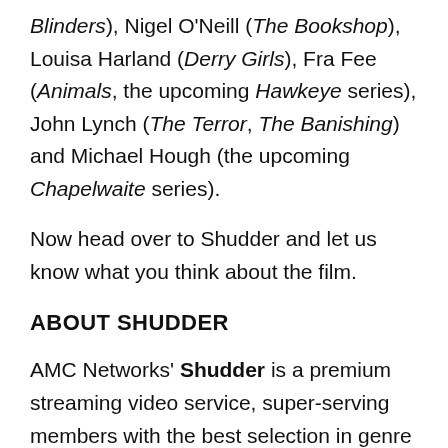Blinders), Nigel O'Neill (The Bookshop), Louisa Harland (Derry Girls), Fra Fee (Animals, the upcoming Hawkeye series), John Lynch (The Terror, The Banishing) and Michael Hough (the upcoming Chapelwaite series).
Now head over to Shudder and let us know what you think about the film.
ABOUT SHUDDER
AMC Networks' Shudder is a premium streaming video service, super-serving members with the best selection in genre entertainment, covering horror, thrillers and the supernatural. Shudder's expanding library of film, TV series, and originals is available on most streaming devices in the US, Canada, the UK, Ireland, Germany, Australia and New Zealand. For a 7-day, risk-free trial,